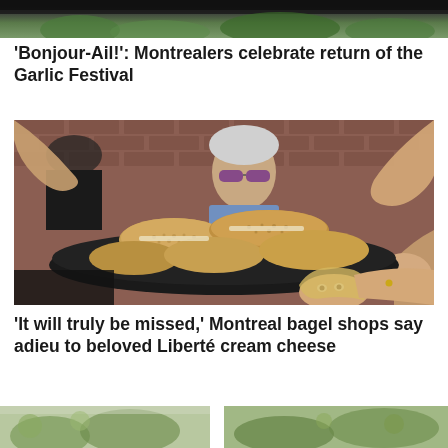[Figure (photo): Top partial image showing green foliage or plant material under a dark overhang/roof structure]
'Bonjour-Ail!': Montrealers celebrate return of the Garlic Festival
[Figure (photo): People reaching for bagels/bread pieces on a large dark platter, with a man wearing sunglasses visible in the background in front of a brick wall]
'It will truly be missed,' Montreal bagel shops say adieu to beloved Liberté cream cheese
[Figure (photo): Bottom left partial image, outdoor scene]
[Figure (photo): Bottom right partial image, outdoor garden or park scene]